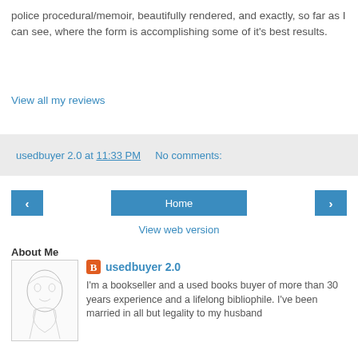police procedural/memoir, beautifully rendered, and exactly, so far as I can see, where the form is accomplishing some of it's best results.
View all my reviews
usedbuyer 2.0 at 11:33 PM    No comments:
‹  Home  ›
View web version
About Me
usedbuyer 2.0
I'm a bookseller and a used books buyer of more than 30 years experience and a lifelong bibliophile. I've been married in all but legality to my husband